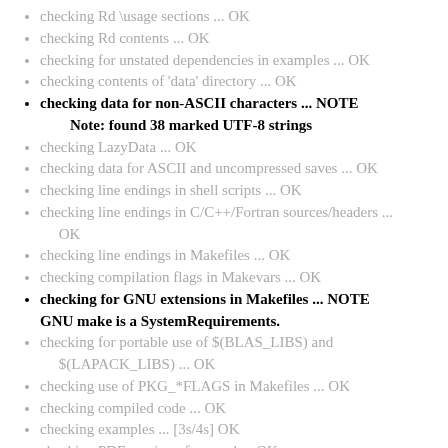checking Rd \usage sections ... OK
checking Rd contents ... OK
checking for unstated dependencies in examples ... OK
checking contents of 'data' directory ... OK
checking data for non-ASCII characters ... NOTE
    Note: found 38 marked UTF-8 strings
checking LazyData ... OK
checking data for ASCII and uncompressed saves ... OK
checking line endings in shell scripts ... OK
checking line endings in C/C++/Fortran sources/headers ... OK
checking line endings in Makefiles ... OK
checking compilation flags in Makevars ... OK
checking for GNU extensions in Makefiles ... NOTE
GNU make is a SystemRequirements.
checking for portable use of $(BLAS_LIBS) and $(LAPACK_LIBS) ... OK
checking use of PKG_*FLAGS in Makefiles ... OK
checking compiled code ... OK
checking examples ... [3s/4s] OK
checking PDF version of manual ... OK
DONE
Status: 3 NOTEs
using check arguments '--no-clean-on-error '